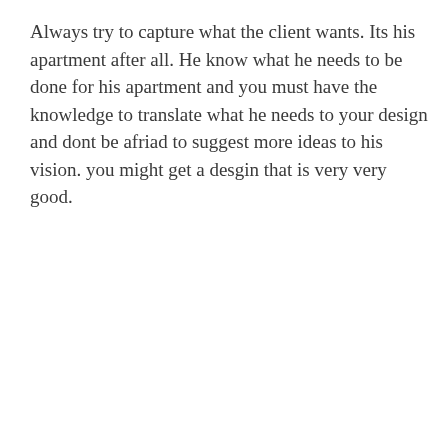Always try to capture what the client wants. Its his apartment after all. He know what he needs to be done for his apartment and you must have the knowledge to translate what he needs to your design and dont be afriad to suggest more ideas to his vision. you might get a desgin that is very very good.